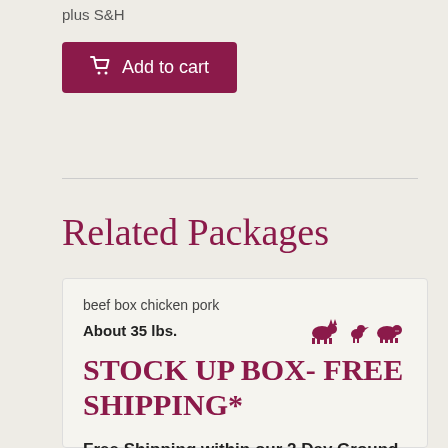plus S&H
Add to cart
Related Packages
beef box chicken pork
About 35 lbs.
STOCK UP BOX- FREE SHIPPING*
Free Shipping within our 2 Day Ground Radius! ( NY, NJ, MA, CT, RI, VT, NH, ME, PA, MD, VA, OH, MI, & IN)